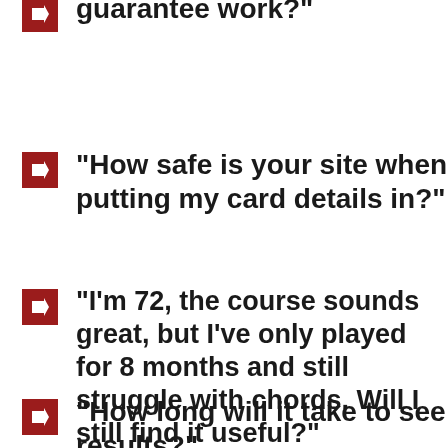guarantee work?"
"How safe is your site when putting my card details in?"
"I'm 72, the course sounds great, but I've only played for 8 months and still struggle with chords. Will I still find it useful?"
"How long will it take to see results?"